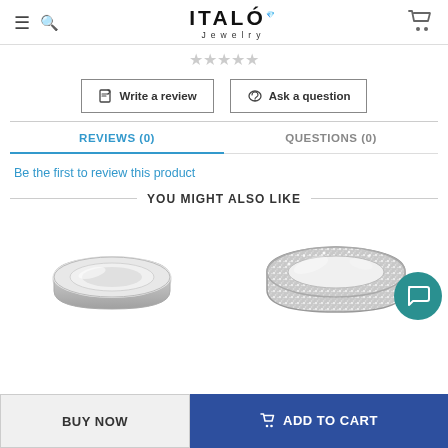ITALO Jewelry
[Figure (illustration): Star rating row (empty/grey stars)]
Write a review
Ask a question
REVIEWS (0)
QUESTIONS (0)
Be the first to review this product
YOU MIGHT ALSO LIKE
[Figure (photo): Two jewelry ring product images side by side]
BUY NOW
ADD TO CART